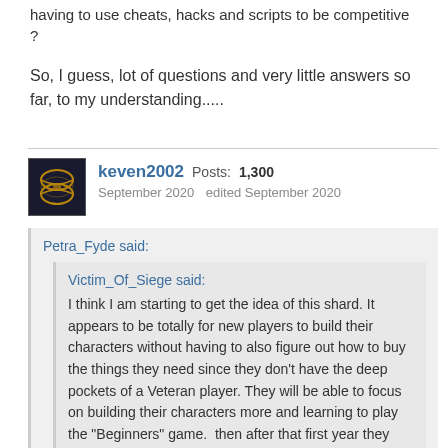having to use cheats, hacks and scripts to be competitive ?
So, I guess, lot of questions and very little answers so far, to my understanding.....
keven2002  Posts: 1,300  September 2020  edited September 2020
Petra_Fyde said:
Victim_Of_Siege said: I think I am starting to get the idea of this shard. It appears to be totally for new players to build their characters without having to also figure out how to buy the things they need since they don't have the deep pockets of a Veteran player. They will be able to focus on building their characters more and learning to play the "Beginners" game.  then after that first year they should have learned the basics, built a bank account and amassed some nice items .  then they "Shatter" the